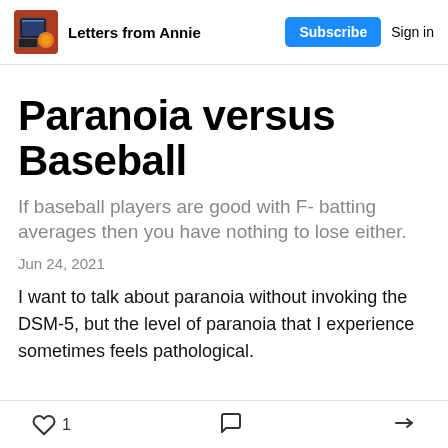Letters from Annie
Paranoia versus Baseball
If baseball players are good with F- batting averages then you have nothing to lose either.
Jun 24, 2021
I want to talk about paranoia without invoking the DSM-5, but the level of paranoia that I experience sometimes feels pathological.
1